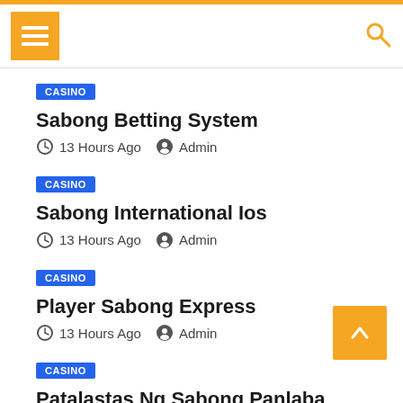Menu | Search
CASINO | Sabong Betting System | 13 Hours Ago | Admin
CASINO | Sabong International Ios | 13 Hours Ago | Admin
CASINO | Player Sabong Express | 13 Hours Ago | Admin
CASINO | Patalastas Ng Sabong Panlaba | 14 Hours Ago | Admin